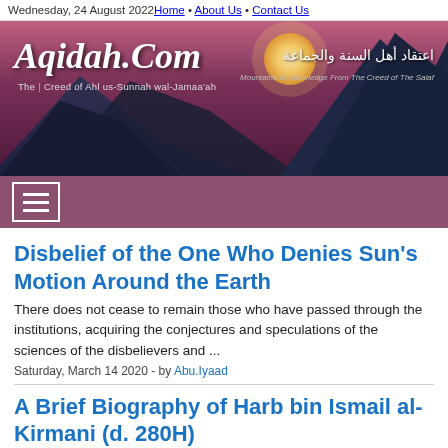Wednesday, 24 August 2022  Home • About Us • Contact Us
[Figure (illustration): Aqidah.Com website banner with mountain background, logo text 'Aqidah.Com', tagline 'The Creed of Ahl us-Sunnah wal-Jamaa'ah', Arabic text, and subtitle 'Mountains of Knowledge From The Creed of The Salaf']
[Figure (other): Navigation bar with hamburger menu icon (three horizontal lines in white) on dark mauve/purple background]
Disbelief of the One Who Denies Sun's Motion Around the Earth
There does not cease to remain those who have passed through the institutions, acquiring the conjectures and speculations of the sciences of the disbelievers and ...
Saturday, March 14 2020 - by Abu.Iyaad
A Brief Biography of Harb bin Ismail al-Kirmani (d. 280H)
He is Harb bin Ismā'īl bin Khalaf al-Ḥanẓalī al-Kirmānī, Abū Muḥammad. His specific year of birth is not known ...
Monday, January 20 2020 - by Admin